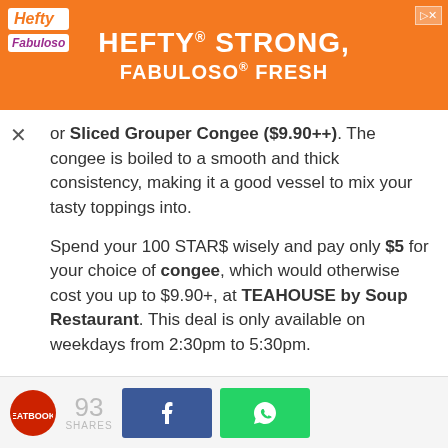[Figure (photo): Hefty and Fabuloso advertisement banner with orange background showing 'HEFTY STRONG, FABULOSO FRESH' text]
or Sliced Grouper Congee ($9.90++). The congee is boiled to a smooth and thick consistency, making it a good vessel to mix your tasty toppings into.
Spend your 100 STAR$ wisely and pay only $5 for your choice of congee, which would otherwise cost you up to $9.90+, at TEAHOUSE by Soup Restaurant. This deal is only available on weekdays from 2:30pm to 5:30pm.
Unit number: #01-101B
Tel: 6899 1811
Website
93 SHARES